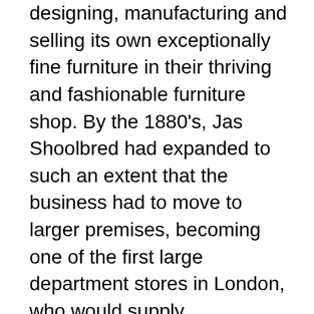designing, manufacturing and selling its own exceptionally fine furniture in their thriving and fashionable furniture shop. By the 1880's, Jas Shoolbred had expanded to such an extent that the business had to move to larger premises, becoming one of the first large department stores in London, who would supply exceptional  furniture and accessories of the highest quality for the Victorian home. Their furniture was displayed in a series of catalogues that the company produced every year, with their new and impressive designs. James Shoolbred's furniture and mirrors were always displayed and photographed alongside the textiles, carpets and other accessories that the company sold, creating an example of interior design for customers to view. Jas Shoolbred was noted by Bondage at the mid 1880s